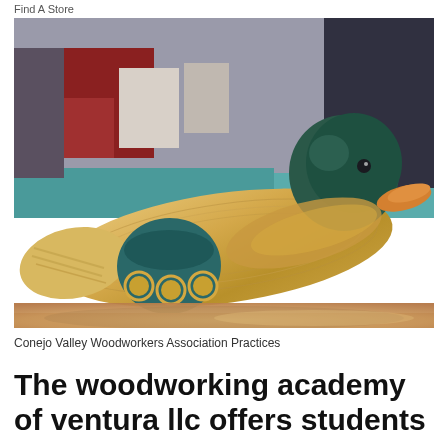Find A Store
[Figure (photo): A hand-carved wooden duck decoy painted with dark teal and natural wood tones, sitting on a wooden table in a classroom or workshop setting. The duck has a dark green painted head and teal collar decoration with circular cutouts. Background shows red and white decorations on walls.]
Conejo Valley Woodworkers Association Practices
The woodworking academy of ventura llc offers students an